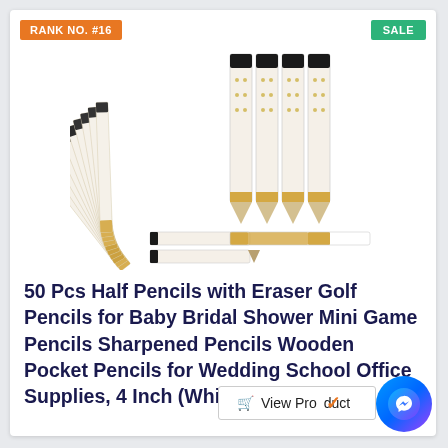RANK NO. #16
SALE
[Figure (photo): Product photo showing white and gold polka dot half pencils with erasers, arranged in a fan/stack and standing upright]
50 Pcs Half Pencils with Eraser Golf Pencils for Baby Bridal Shower Mini Game Pencils Sharpened Pencils Wooden Pocket Pencils for Wedding School Office Supplies, 4 Inch (White and Gold)
View Product